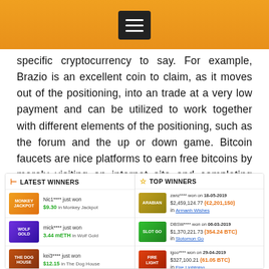specific cryptocurrency to say. For example, Brazio is an excellent coin to claim, as it moves out of the positioning, into an trade at a very low payment and can be utilized to work together with different elements of the positioning, such as the forum and the up or down game. Bitcoin faucets are nice platforms to earn free bitcoins by merely visiting an internet site and completing easy tasks like captcha or surveys.
LATEST WINNERS
Nic1**** just won $9.30 in Monkey Jackpot
mick**** just won 3.44 mETH in Wolf Gold
kei3**** just won $12.15 in The Dog House
alma**** just won $128.40 in Alice Adventure
Neil**** just won 40.00 mBTC in Blackjack VIP
TOP WINNERS
zanz**** won on 18-05-2019 $2,459,124.77 (€2,201,150) in Armanh Wishes
DBSW**** won on 06-03-2019 $1,370,221.73 (354.24 BTC) in Slotomon Go
igoo**** won on 29-04-2019 $327,100.21 (61.05 BTC) in Fire Lightning
gro**** won on 01-01-2019 $263,017.94 (19.61 BTC) in Book Of Fortune
-lebu**** won on 28-11-2019 $260,000 ($260,000) in Salon Prive Blackjack 3